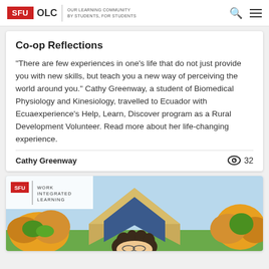SFU OLC | OUR LEARNING COMMUNITY BY STUDENTS, FOR STUDENTS
Co-op Reflections
"There are few experiences in one's life that do not just provide you with new skills, but teach you a new way of perceiving the world around you." Cathy Greenway, a student of Biomedical Physiology and Kinesiology, travelled to Ecuador with Ecuaexperience's Help, Learn, Discover program as a Rural Development Volunteer. Read more about her life-changing experience.
Cathy Greenway
[Figure (illustration): SFU Work Integrated Learning banner with illustrated cartoon character and arrows, trees in background]